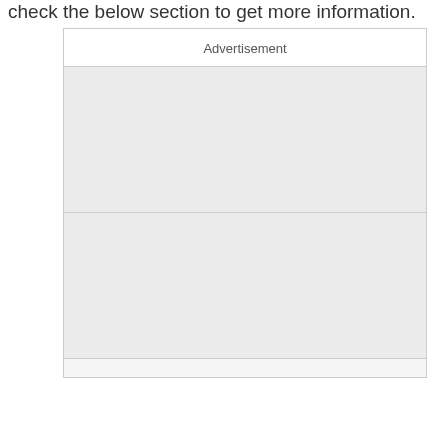check the below section to get more information.
[Figure (other): Advertisement placeholder box with header 'Advertisement' and two gray content panels]